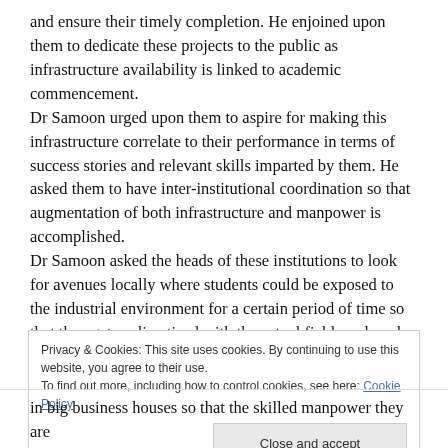and ensure their timely completion. He enjoined upon them to dedicate these projects to the public as infrastructure availability is linked to academic commencement.
Dr Samoon urged upon them to aspire for making this infrastructure correlate to their performance in terms of success stories and relevant skills imparted by them. He asked them to have inter-institutional coordination so that augmentation of both infrastructure and manpower is accomplished.
Dr Samoon asked the heads of these institutions to look for avenues locally where students could be exposed to the industrial environment for a certain period of time so that they get acclimatized with the actual field work and
Privacy & Cookies: This site uses cookies. By continuing to use this website, you agree to their use.
To find out more, including how to control cookies, see here: Cookie Policy
Close and accept
in big business houses so that the skilled manpower they are